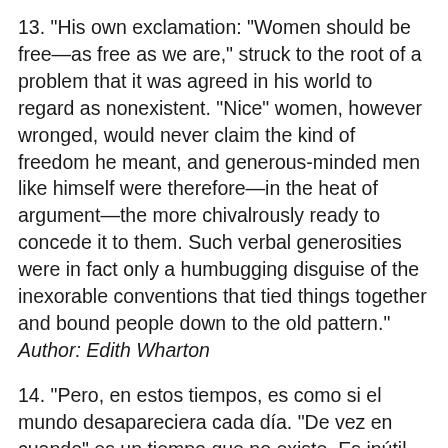13. "His own exclamation: "Women should be free—as free as we are," struck to the root of a problem that it was agreed in his world to regard as nonexistent. "Nice" women, however wronged, would never claim the kind of freedom he meant, and generous-minded men like himself were therefore—in the heat of argument—the more chivalrously ready to concede it to them. Such verbal generosities were in fact only a humbugging disguise of the inexorable conventions that tied things together and bound people down to the old pattern." Author: Edith Wharton
14. "Pero, en estos tiempos, es como si el mundo desapareciera cada día. "De vez en cuando" es un tiempo que no existe. Es inútil apostar por él. Durante más de dos años yo aposté, con cuerpo de perdida y dignidad de caballero, por un tiempo inexistente. No me...